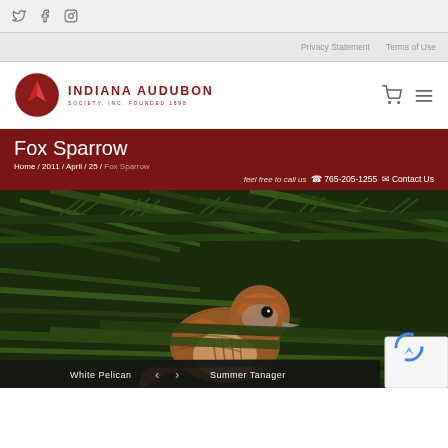Social icons: Twitter, Facebook, Instagram
Privacy Statement | Terms of Use
INDIANA AUDUBON SOCIETY, INC. FOUNDED 1898
Fox Sparrow
Home / 2011 / April / 25 / Fox Sparrow
feel free to call us  765-205-1255  Contact Us
[Figure (photo): Close-up photo of a Fox Sparrow bird perched among pine/fir branches. The bird has rust-brown streaked plumage with a round eye visible. Navigation arrows and labels 'White Pelican' and 'Summer Tanager' appear at the bottom.]